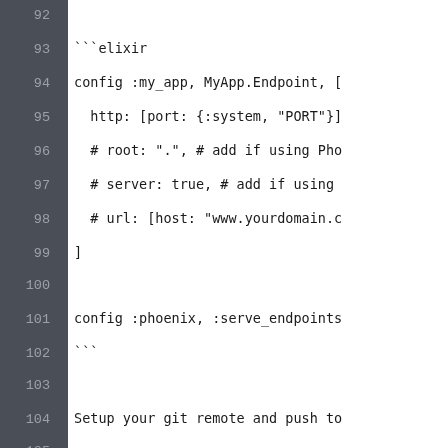92  (empty line)
93    ```elixir
94    config :my_app, MyApp.Endpoint, [
95      http: [port: {:system, "PORT"}]
96      # root: ".", # add if using Pho
97      # server: true, # add if using
98      # url: [host: "www.yourdomain.c
99    ]
100   (empty line)
101   config :phoenix, :serve_endpoints
102   ```
103   (empty line)
104   Setup your git remote and push to
105   (empty line)
106   ```elixir
107   $ git remote add production user_
108   $ git push production master
109   ```
110   (empty line)
111   SSH back into your server and ens
112   installed if needed
113   (partial)